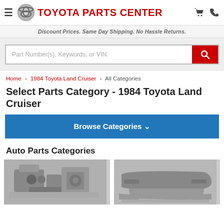TOYOTA PARTS CENTER
Discount Prices. Same Day Shipping. No Hassle Returns.
[Figure (screenshot): Search box with placeholder text 'Part Number(s), Keywords, or VIN' and red search button]
Home › 1984 Toyota Land Cruiser › All Categories
Select Parts Category - 1984 Toyota Land Cruiser
Browse Categories
Auto Parts Categories
[Figure (photo): Two auto parts category images: left shows engine/mechanical parts in black and white, right shows body/trim parts in black and white]